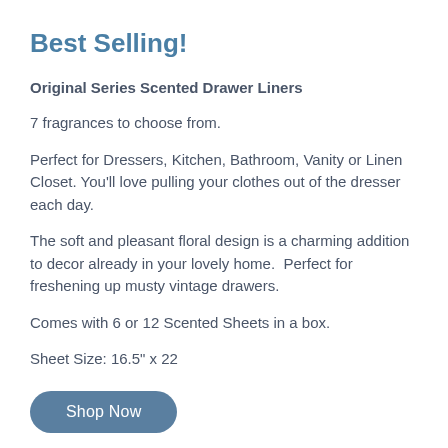Best Selling!
Original Series Scented Drawer Liners
7 fragrances to choose from.
Perfect for Dressers, Kitchen, Bathroom, Vanity or Linen Closet. You'll love pulling your clothes out of the dresser each day.
The soft and pleasant floral design is a charming addition to decor already in your lovely home.  Perfect for freshening up musty vintage drawers.
Comes with 6 or 12 Scented Sheets in a box.
Sheet Size: 16.5" x 22
Shop Now